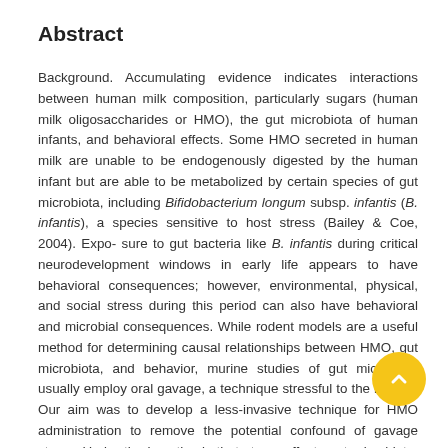Abstract
Background. Accumulating evidence indicates interactions between human milk composition, particularly sugars (human milk oligosaccharides or HMO), the gut microbiota of human infants, and behavioral effects. Some HMO secreted in human milk are unable to be endogenously digested by the human infant but are able to be metabolized by certain species of gut microbiota, including Bifidobacterium longum subsp. infantis (B. infantis), a species sensitive to host stress (Bailey & Coe, 2004). Expo- sure to gut bacteria like B. infantis during critical neurodevelopment windows in early life appears to have behavioral consequences; however, environmental, physical, and social stress during this period can also have behavioral and microbial consequences. While rodent models are a useful method for determining causal relationships between HMO, gut microbiota, and behavior, murine studies of gut microbiota usually employ oral gavage, a technique stressful to the mouse. Our aim was to develop a less-invasive technique for HMO administration to remove the potential confound of gavage stress. Under the hypothesis that stress affects gut microbiota, particularly B. infantis, we predicted the pups receiving a combination diet involving more sugars would have the